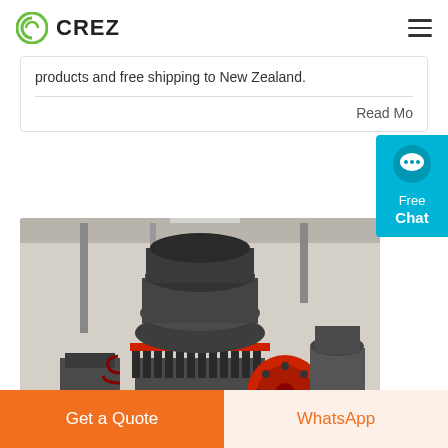CREZ
products and free shipping to New Zealand.
Read Mo...
[Figure (photo): Industrial cone crusher machine with red flywheel, dark grey body, springs, on display in a warehouse. Yellow 'CN' text in lower center of image.]
Stainless Steel... and Ma... C...